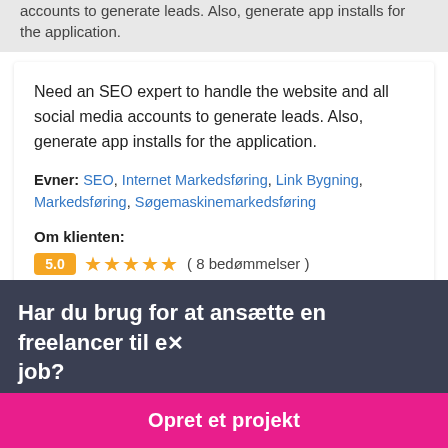accounts to generate leads. Also, generate app installs for the application.
Need an SEO expert to handle the website and all social media accounts to generate leads. Also, generate app installs for the application.
Evner: SEO, Internet Markedsføring, Link Bygning, Markedsføring, Søgemaskinemarkedsføring
Om klienten:
5.0 ★★★★★ ( 8 bedømmelser )
Har du brug for at ansætte en freelancer til et job?
Opret et projekt